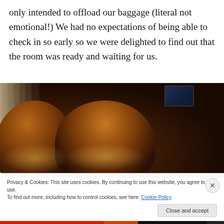only intended to offload our baggage (literal not emotional!) We had no expectations of being able to check in so early so we were delighted to find out that the room was ready and waiting for us.
[Figure (photo): Hotel room interior showing two dark brown leather chairs with warm golden accent lighting, sheer curtains on the left letting in light, and a TV visible in the background on the right.]
Privacy & Cookies: This site uses cookies. By continuing to use this website, you agree to their use.
To find out more, including how to control cookies, see here: Cookie Policy